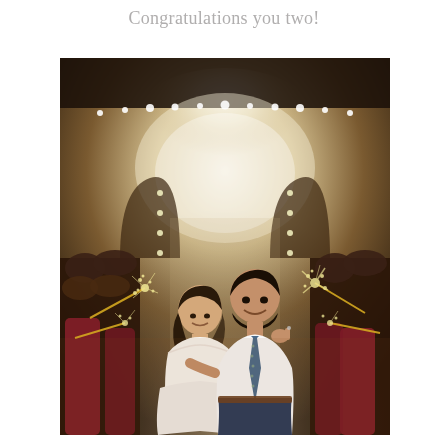Congratulations you two!
[Figure (photo): A wedding couple walking through a sparkler send-off exit at a decorated barn venue at night. The bride is in a white lace gown with a diamond necklace, and the groom wears a white dress shirt with a patterned tie and navy pants. Guests line both sides holding sparklers. The venue features arched doorways and string lights.]